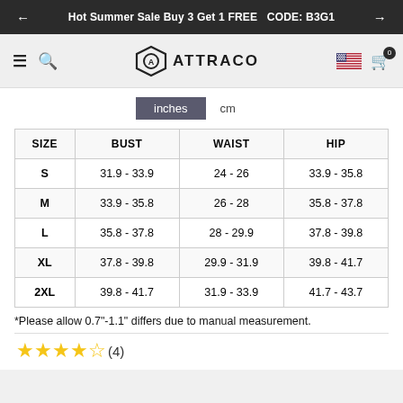Hot Summer Sale Buy 3 Get 1 FREE  CODE: B3G1
[Figure (logo): Attraco brand logo with hexagonal shield icon and text ATTRACO]
| SIZE | BUST | WAIST | HIP |
| --- | --- | --- | --- |
| S | 31.9 - 33.9 | 24 - 26 | 33.9 - 35.8 |
| M | 33.9 - 35.8 | 26 - 28 | 35.8 - 37.8 |
| L | 35.8 - 37.8 | 28 - 29.9 | 37.8 - 39.8 |
| XL | 37.8 - 39.8 | 29.9 - 31.9 | 39.8 - 41.7 |
| 2XL | 39.8 - 41.7 | 31.9 - 33.9 | 41.7 - 43.7 |
*Please allow 0.7"-1.1" differs due to manual measurement.